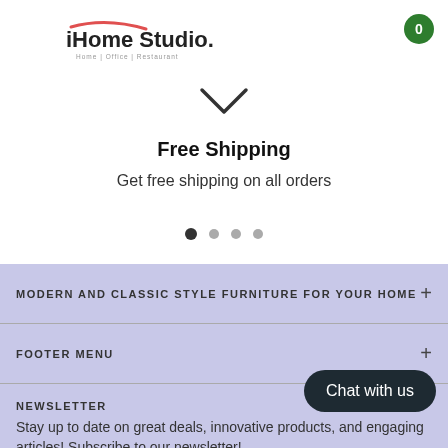[Figure (logo): iHome Studio logo with red swoosh above text and tagline 'Home | Office | Restaurant']
[Figure (illustration): Downward chevron arrow icon]
Free Shipping
Get free shipping on all orders
[Figure (infographic): Four navigation dots, first dot active/filled dark, others lighter]
MODERN AND CLASSIC STYLE FURNITURE FOR YOUR HOME
FOOTER MENU
NEWSLETTER
Stay up to date on great deals, innovative products, and engaging articles! Subscribe to our newsletter!